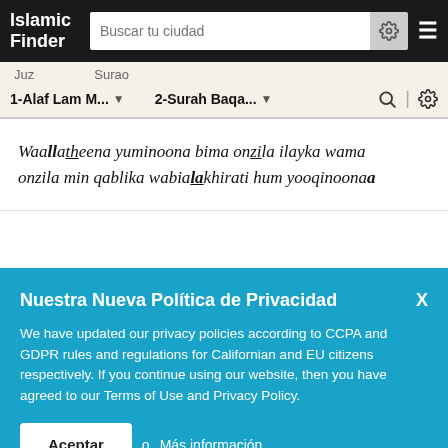Islamic Finder
Juz  Surao
1-Alaf Lam M...  2-Surah Baqa...
Waallatheena yuminoona bima onzila ilayka wama onzila min qablika wabiaalakhirati hum yooqinoona
Nuestra Nueva Política de Privacidad
We have updated our privacy policies according to CCPA and GDPR rules and regulations for Californian and EU citizens respectively. If you continue using our website, then you have agreed to our Terms of Use and Privacy Policy.
Aceptar o Más información